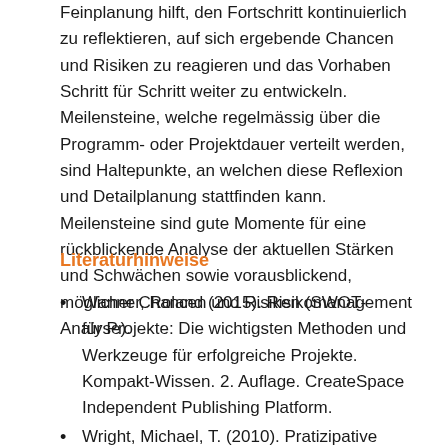Feinplanung hilft, den Fortschritt kontinuierlich zu reflektieren, auf sich ergebende Chancen und Risiken zu reagieren und das Vorhaben Schritt für Schritt weiter zu entwickeln. Meilensteine, welche regelmässig über die Programm- oder Projektdauer verteilt werden, sind Haltepunkte, an welchen diese Reflexion und Detailplanung stattfinden kann. Meilensteine sind gute Momente für eine rückblickende Analyse der aktuellen Stärken und Schwächen sowie vorausblickend, möglicher Chancen und Risiken (SWOT-Analyse).
Literaturhinweise
Wanner, Roland (2015). Risikomanagement für Projekte: Die wichtigsten Methoden und Werkzeuge für erfolgreiche Projekte. Kompakt-Wissen. 2. Auflage. CreateSpace Independent Publishing Platform.
Wright, Michael, T. (2010). Pratizipative Qualitätsentwicklung in der Gesundheitsförderung und Prävention. Bern: